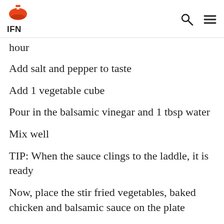IFN
hour
Add salt and pepper to taste
Add 1 vegetable cube
Pour in the balsamic vinegar and 1 tbsp water
Mix well
TIP: When the sauce clings to the laddle, it is ready
Now, place the stir fried vegetables, baked chicken and balsamic sauce on the plate